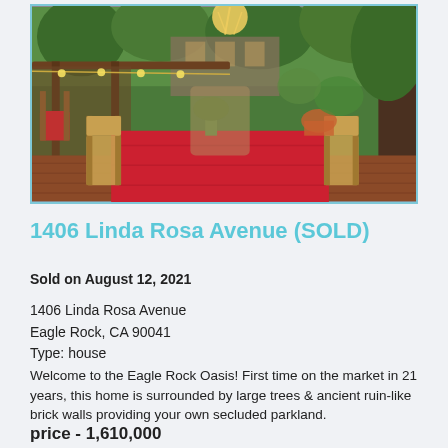[Figure (photo): Outdoor patio area with a red-tablecloth-covered dining table, wooden chairs, string lights, and lush green garden with trees in the background]
1406 Linda Rosa Avenue (SOLD)
Sold on August 12, 2021
1406 Linda Rosa Avenue
Eagle Rock, CA 90041
Type: house
Welcome to the Eagle Rock Oasis! First time on the market in 21 years, this home is surrounded by large trees & ancient ruin-like brick walls providing your own secluded parkland.
price - 1,610,000